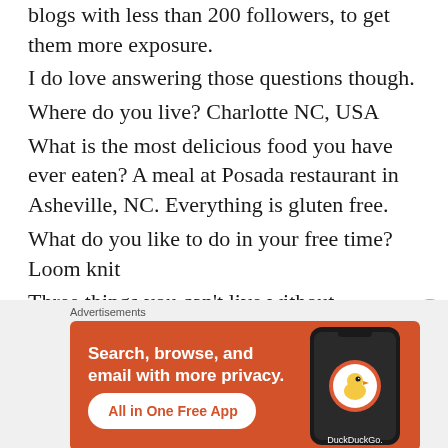blogs with less than 200 followers, to get them more exposure.
I do love answering those questions though.
Where do you live? Charlotte NC, USA
What is the most delicious food you have ever eaten? A meal at Posada restaurant in Asheville, NC. Everything is gluten free.
What do you like to do in your free time? Loom knit
Three things you can't live without...
What is your guiltiest pleasure?
[Figure (screenshot): DuckDuckGo advertisement banner with orange background. Text: 'Search, browse, and email with more privacy. All in One Free App' with DuckDuckGo logo and phone graphic.]